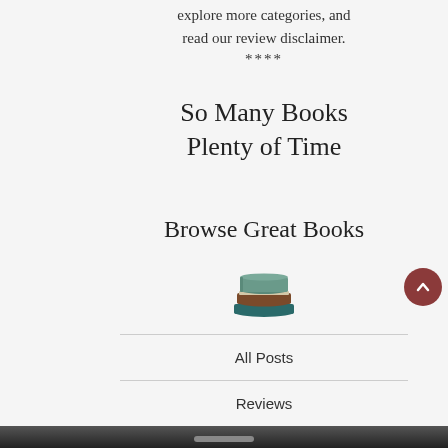explore more categories, and read our review disclaimer.
****
So Many Books Plenty of Time
Browse Great Books
[Figure (illustration): Stack of three books icon: top book with teal/green cover, middle book with brown cover, bottom book with dark blue/teal cover]
All Posts
Reviews
Book Releases
Top Picks